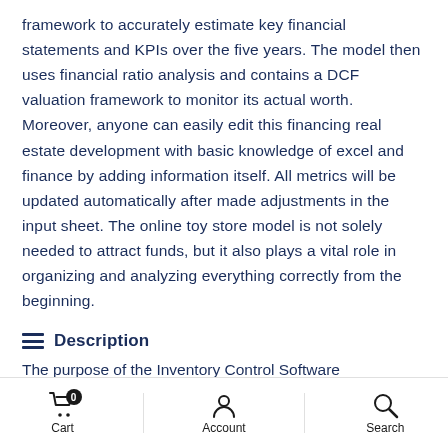framework to accurately estimate key financial statements and KPIs over the five years. The model then uses financial ratio analysis and contains a DCF valuation framework to monitor its actual worth. Moreover, anyone can easily edit this financing real estate development with basic knowledge of excel and finance by adding information itself. All metrics will be updated automatically after made adjustments in the input sheet. The online toy store model is not solely needed to attract funds, but it also plays a vital role in organizing and analyzing everything correctly from the beginning.
Description
The purpose of the Inventory Control Software
Cart   Account   Search